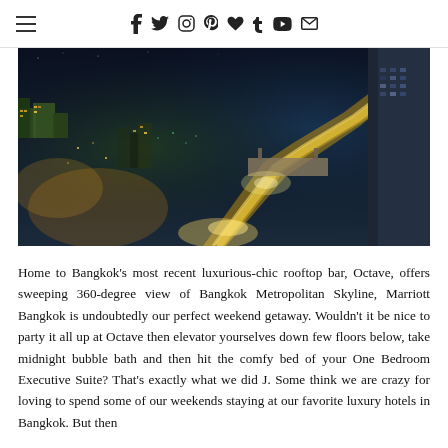≡  f  t  ⊙  p  ♥  t  ▶  ✉
[Figure (photo): Aerial night view of Bangkok city skyline with illuminated highways and skyscrapers]
Home to Bangkok's most recent luxurious-chic rooftop bar, Octave, offers sweeping 360-degree view of Bangkok Metropolitan Skyline, Marriott Bangkok is undoubtedly our perfect weekend getaway. Wouldn't it be nice to party it all up at Octave then elevator yourselves down few floors below, take midnight bubble bath and then hit the comfy bed of your One Bedroom Executive Suite? That's exactly what we did J. Some think we are crazy for loving to spend some of our weekends staying at our favorite luxury hotels in Bangkok. But then